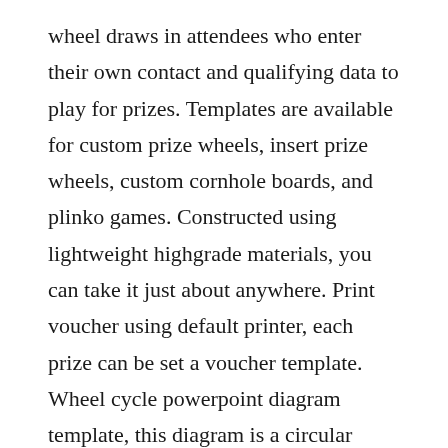wheel draws in attendees who enter their own contact and qualifying data to play for prizes. Templates are available for custom prize wheels, insert prize wheels, custom cornhole boards, and plinko games. Constructed using lightweight highgrade materials, you can take it just about anywhere. Print voucher using default printer, each prize can be set a voucher template. Wheel cycle powerpoint diagram template, this diagram is a circular template that circles around the arc.
Select, replace and customize the sample